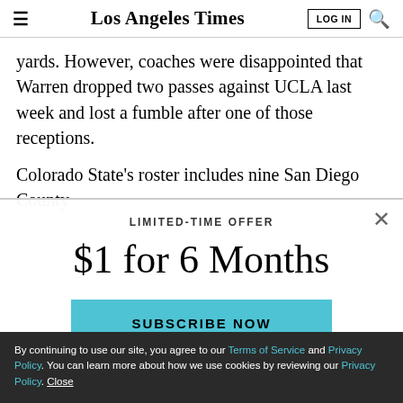Los Angeles Times | LOG IN | Search
yards. However, coaches were disappointed that Warren dropped two passes against UCLA last week and lost a fumble after one of those receptions.
Colorado State's roster includes nine San Diego County players of…
[Figure (screenshot): Paywall modal overlay with LIMITED-TIME OFFER label, '$1 for 6 Months' heading, and SUBSCRIBE NOW button in light blue, with X close button]
By continuing to use our site, you agree to our Terms of Service and Privacy Policy. You can learn more about how we use cookies by reviewing our Privacy Policy. Close